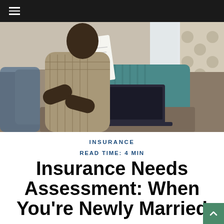Navigation bar with hamburger menu
[Figure (photo): A person sitting on a couch holding a document/paper, with a laptop open on a table in front of them. A coffee mug and other items are visible on the table. There is a teal knit blanket draped over the couch and patterned curtains in the background.]
INSURANCE
READ TIME: 4 MIN
Insurance Needs Assessment: When You're Newly Married